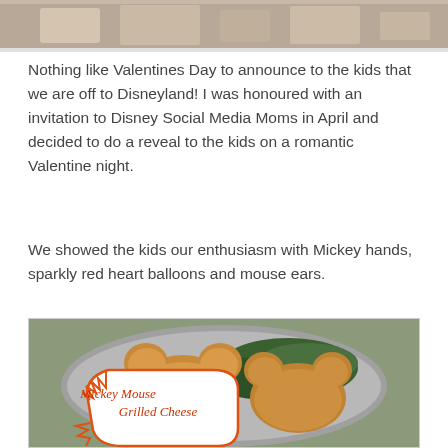[Figure (photo): Top portion of a photo showing people, partially cropped at the top of the page]
Nothing like Valentines Day to announce to the kids that we are off to Disneyland! I was honoured with an invitation to Disney Social Media Moms in April and decided to do a reveal to the kids on a romantic Valentine night.
We showed the kids our enthusiasm with Mickey hands, sparkly red heart balloons and mouse ears.
[Figure (photo): Photo of Mickey Mouse shaped grilled cheese sandwiches on a silver plate with greens, with a speech bubble overlay reading 'Mickey Mouse Grilled Cheese' in orange handwritten font]